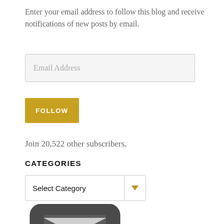Enter your email address to follow this blog and receive notifications of new posts by email.
[Figure (other): Email address input field with placeholder text 'Email Address' on a light gray background]
[Figure (other): Yellow/gold FOLLOW button with white uppercase text]
Join 20,522 other subscribers.
CATEGORIES
[Figure (other): Dropdown select box with 'Select Category' text and a gold/dark dropdown arrow]
[Figure (other): Partial view of a dark rounded square icon at the bottom of the page, appears to be an email or mailing icon]